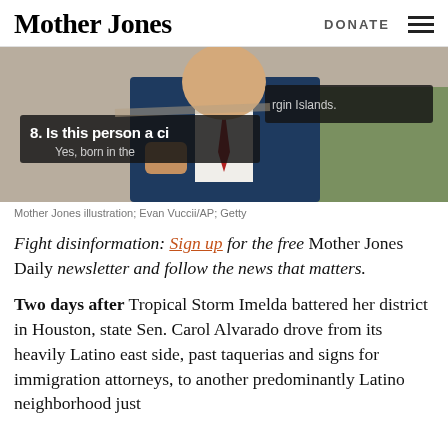Mother Jones | DONATE
[Figure (photo): Collage image: a person in a suit with a red tie, overlaid with census form snippets reading '8. Is this person a ci' and 'Yes, born in the' and 'rgin Islands.']
Mother Jones illustration; Evan Vuccii/AP; Getty
Fight disinformation: Sign up for the free Mother Jones Daily newsletter and follow the news that matters.
Two days after Tropical Storm Imelda battered her district in Houston, state Sen. Carol Alvarado drove from its heavily Latino east side, past taquerias and signs for immigration attorneys, to another predominantly Latino neighborhood just